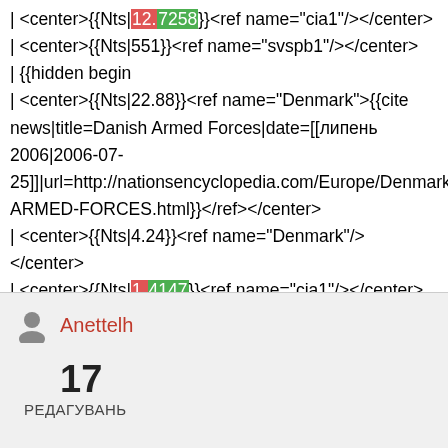| <center>{{Nts|12.7258}}<ref name="cia1"/></center>
| <center>{{Nts|551}}<ref name="svspb1"/></center>
| {{hidden begin
| <center>{{Nts|22.88}}<ref name="Denmark">{{cite news|title=Danish Armed Forces|date=[[липень 2006|2006-07-25]]|url=http://nationsencyclopedia.com/Europe/Denmark-ARMED-FORCES.html}}</ref></center>
| <center>{{Nts|4.24}}<ref name="Denmark"/></center>
| <center>{{Nts|1.4147}}<ref name="cia1"/></center>
| <center>{{Nts|919}}<ref name="svspb1"/>...</center>
Anettelh
17
РЕДАГУВАНЬ